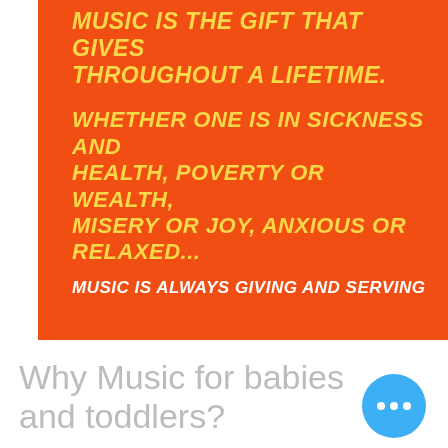[Figure (infographic): Orange banner with yellow and white italic bold text about music being a gift throughout a lifetime]
Why Music for babies and toddlers?
Music Classes with Miss Ruth  will awaken the joy of music and movement in your child while helping to develop many physical, social, and learning abilities. Children can start these classes as young as 3 months of age and then continue in classes for for toddlers and Ki... This continuity bridges your child's development during the important formative